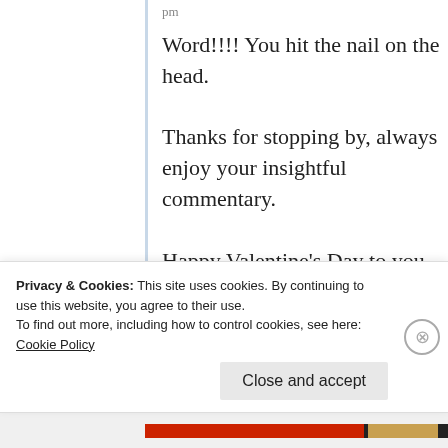pm
Word!!!! You hit the nail on the head.

Thanks for stopping by, always enjoy your insightful commentary.

Happy Valentine's Day to you and yours!
Privacy & Cookies: This site uses cookies. By continuing to use this website, you agree to their use.
To find out more, including how to control cookies, see here:
Cookie Policy
Close and accept